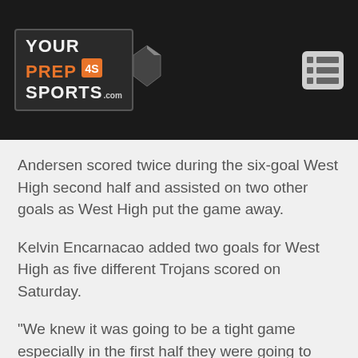[Figure (logo): YourPrepSports.com logo with menu icon on dark header bar]
Andersen scored twice during the six-goal West High second half and assisted on two other goals as West High put the game away.
Kelvin Encarnacao added two goals for West High as five different Trojans scored on Saturday.
“We knew it was going to be a tight game especially in the first half they were going to come out strong but we have the depth coming off the bench,” Andersen said. “That really showed in the second half on a hot day.”
After closing the regular season with back-to-back one-goal losses to Cedar Rapids Washington and Waterloo West the